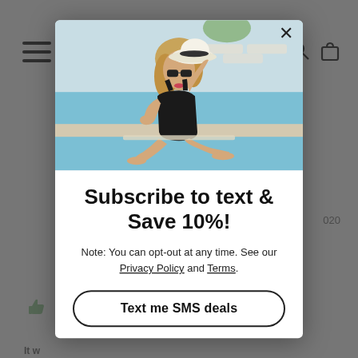[Figure (screenshot): E-commerce website modal popup overlay. Background shows a blurred website page with a hamburger menu icon, search icon, shopping bag icon, and partial review text. The modal popup contains: a photo of a woman in a black swimsuit by a pool holding a white hat, a close button (×), a bold headline 'Subscribe to text & Save 10%!', a note about opting out with Privacy Policy and Terms links, and a 'Text me SMS deals' button.]
Subscribe to text & Save 10%!
Note: You can opt-out at any time. See our Privacy Policy and Terms.
Text me SMS deals